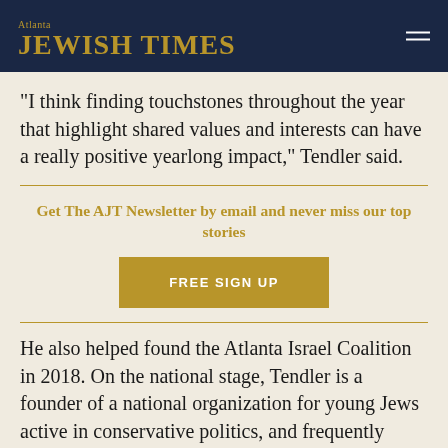Atlanta JEWISH TIMES
“I think finding touchstones throughout the year that highlight shared values and interests can have a really positive yearlong impact,” Tendler said.
Get The AJT Newsletter by email and never miss our top stories
FREE SIGN UP
He also helped found the Atlanta Israel Coalition in 2018. On the national stage, Tendler is a founder of a national organization for young Jews active in conservative politics, and frequently travels